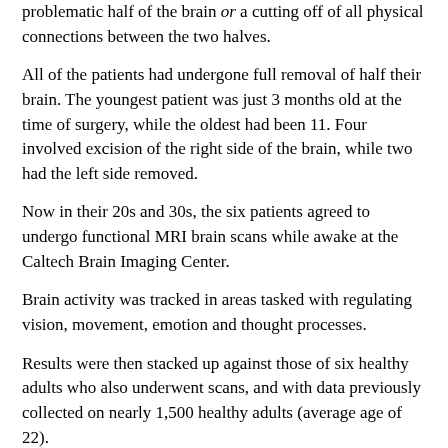problematic half of the brain or a cutting off of all physical connections between the two halves.
All of the patients had undergone full removal of half their brain. The youngest patient was just 3 months old at the time of surgery, while the oldest had been 11. Four involved excision of the right side of the brain, while two had the left side removed.
Now in their 20s and 30s, the six patients agreed to undergo functional MRI brain scans while awake at the Caltech Brain Imaging Center.
Brain activity was tracked in areas tasked with regulating vision, movement, emotion and thought processes.
Results were then stacked up against those of six healthy adults who also underwent scans, and with data previously collected on nearly 1,500 healthy adults (average age of 22).
Because brain networks devoted to a single regulatory function often span both hemispheres of the brain, the team expected to see weaker neural activity among the hemispherectomy patients. That was not the case.
In fact, scans revealed normal in-network communication and activity function. And communication running between different